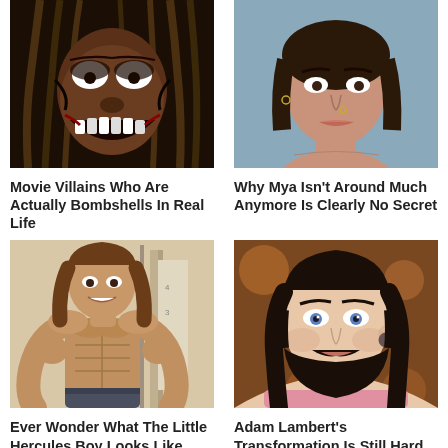[Figure (photo): Person with dreadlocks and scary makeup/expression, movie villain style]
Movie Villains Who Are Actually Bombshells In Real Life
[Figure (photo): Woman taking a selfie, Mya the singer]
Why Mya Isn't Around Much Anymore Is Clearly No Secret
[Figure (photo): Young muscular child, Little Hercules boy]
Ever Wonder What The Little Hercules Boy Looks Like
[Figure (photo): Adam Lambert close-up portrait with beard and earring]
Adam Lambert's Transformation Is Still Hard For Fans